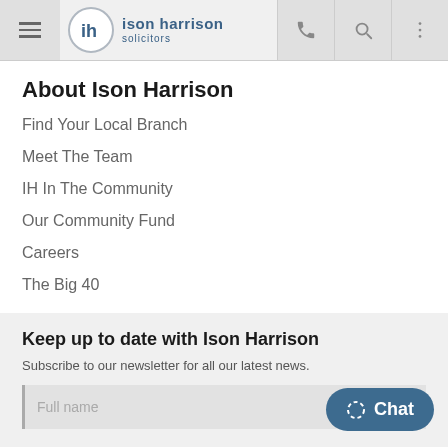[Figure (logo): Ison Harrison Solicitors logo with circular IH icon and text]
About Ison Harrison
Find Your Local Branch
Meet The Team
IH In The Community
Our Community Fund
Careers
The Big 40
Keep up to date with Ison Harrison
Subscribe to our newsletter for all our latest news.
Full name